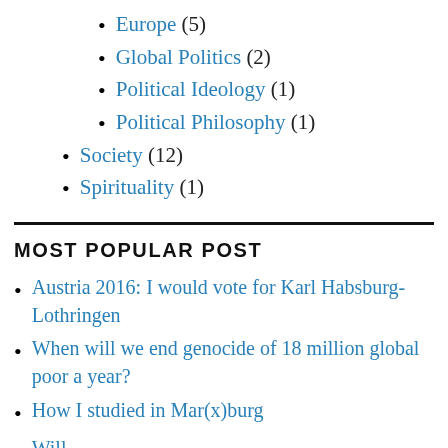Europe (5)
Global Politics (2)
Political Ideology (1)
Political Philosophy (1)
Society (12)
Spirituality (1)
MOST POPULAR POST
Austria 2016: I would vote for Karl Habsburg-Lothringen
When will we end genocide of 18 million global poor a year?
How I studied in Mar(x)burg
Will we end it before?